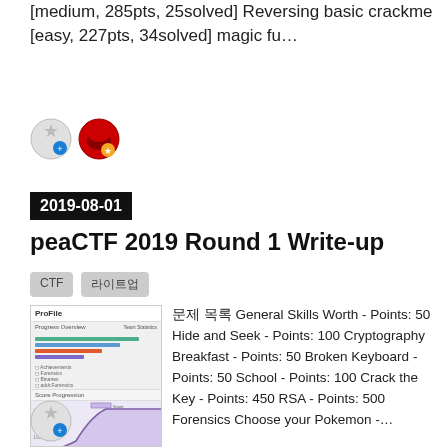[medium, 285pts, 25solved] Reversing basic crackme [easy, 227pts, 34solved] magic fu…
[Figure (illustration): Two avatar icons: a grey starred circle and a red helmet with star badge]
2019-08-01
peaCTF 2019 Round 1 Write-up
CTF
라이트업
[Figure (screenshot): Screenshot of a CTF profile page showing progress overview with colored bar charts and a score progression graph]
문제 목록 General Skills Worth - Points: 50 Hide and Seek - Points: 100 Cryptography Breakfast - Points: 50 Broken Keyboard - Points: 50 School - Points: 100 Crack the Key - Points: 450 RSA - Points: 500 Forensics Choose your Pokemon -…
[Figure (illustration): Grey starred circle avatar icon]